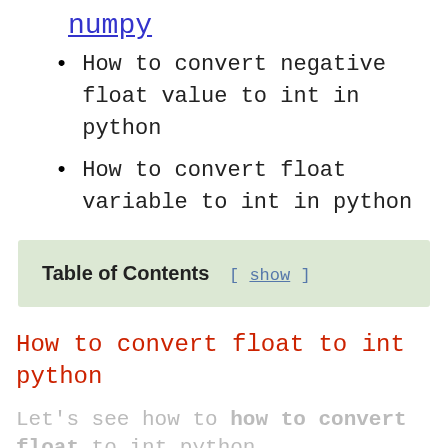numpy
How to convert negative float value to int in python
How to convert float variable to int in python
How to convert float to int python
Let's see how to how to convert float to int python